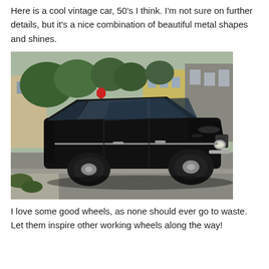Here is a cool vintage car, 50's I think. I'm not sure on further details, but it's a nice combination of beautiful metal shapes and shines.
[Figure (photo): A black vintage sedan car (likely 1960s Chevrolet Nova or similar) parked on a street, photographed from a slightly elevated front-quarter angle. The car is shiny black with chrome details. Urban background with trees, buildings, and a stop sign visible.]
I love some good wheels, as none should ever go to waste. Let them inspire other working wheels along the way!